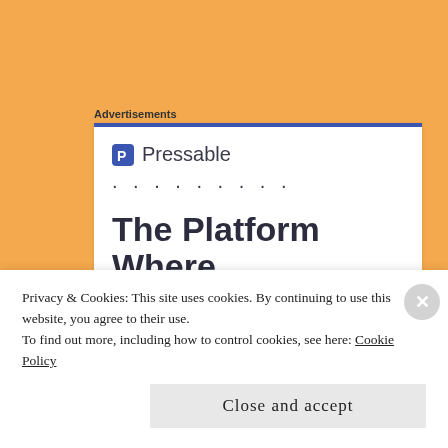Advertisements
[Figure (screenshot): Pressable advertisement banner with blue top border, Pressable logo, dots row, and headline 'The Platform Where WordPress']
Privacy & Cookies: This site uses cookies. By continuing to use this website, you agree to their use.
To find out more, including how to control cookies, see here: Cookie Policy
Close and accept